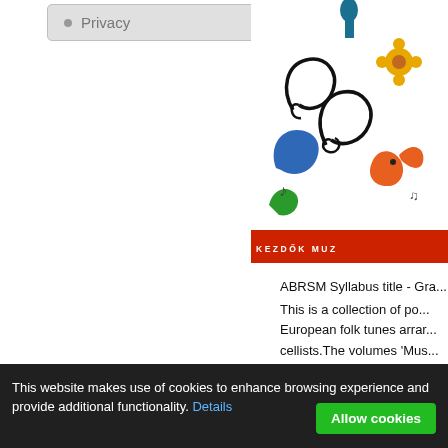Privacy
[Figure (illustration): Book cover for a music collection showing decorative musical and folk art motifs on white/colorful background with text 'KEZDŐK MUZ...' at bottom in red band]
ABRSM Syllabus title - Gra...
This is a collection of po... European folk tunes arrar... cellists.The volumes 'Mus... series cover the entire musi...
CLASSICAL CANONS
[Figure (illustration): Book cover with yellow/cream background and red border, titled 'CANONS CLASS... CLASSICAL CA...' in dark red text]
This website makes use of cookies to enhance browsing experience and provide additional functionality. Details
Allow cookies